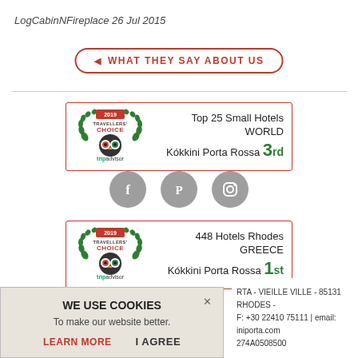LogCabinNFireplace 26 Jul 2015
[Figure (other): Button with red border: ◄ WHAT THEY SAY ABOUT US]
[Figure (other): TripAdvisor Travellers Choice 2019 badge - Top 25 Small Hotels WORLD, Kokkini Porta Rossa 3rd]
[Figure (other): Social media icons: Facebook, Pinterest, Instagram]
[Figure (other): TripAdvisor Travellers Choice 2019 badge - 448 Hotels Rhodes GREECE, Kokkini Porta Rossa 1st]
WE USE COOKIES
To make our website better.
LEARN MORE   I AGREE
RTA - VIEILLE VILLE - 85131 RHODES -
F: +30 22410 75111 | email:
iniporta.com
274A0508500